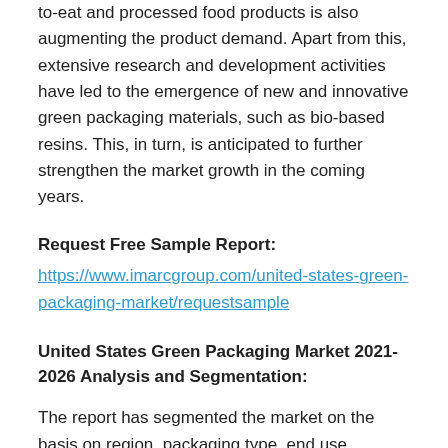to-eat and processed food products is also augmenting the product demand. Apart from this, extensive research and development activities have led to the emergence of new and innovative green packaging materials, such as bio-based resins. This, in turn, is anticipated to further strengthen the market growth in the coming years.
Request Free Sample Report:
https://www.imarcgroup.com/united-states-green-packaging-market/requestsample
United States Green Packaging Market 2021-2026 Analysis and Segmentation:
The report has segmented the market on the basis on region, packaging type, end use industry.
Breakup by Packaging Type: